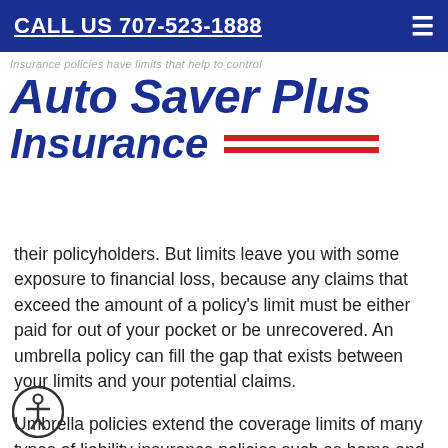CALL US 707-523-1888
[Figure (logo): Auto Saver Plus Insurance logo with blue italic text and red double-line decoration]
Insurance policies have limits that help to control their policyholders. But limits leave you with some exposure to financial loss, because any claims that exceed the amount of a policy's limit must be either paid for out of your pocket or be unrecovered. An umbrella policy can fill the gap that exists between your limits and your potential claims.
Umbrella policies extend the coverage limits of many types of liability insurance policies such as home and auto.  It can provide $1 million or more in additional coverage to each of those policies you have. For example, when an auto insurance policy has a $250,000 limit and you injure another person in an accident, the medical expenses and lawsuit could cost much more than that. Having the added